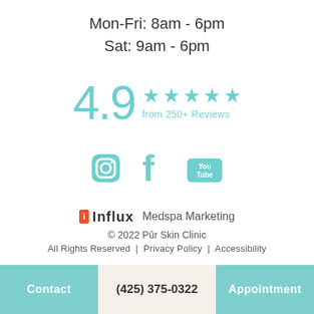Mon-Fri: 8am - 6pm
Sat: 9am - 6pm
[Figure (infographic): 4.9 star rating with 5 teal stars and text 'from 250+ Reviews']
[Figure (infographic): Social media icons: Instagram, Facebook, YouTube in teal]
Influx Medspa Marketing
© 2022 Pūr Skin Clinic
All Rights Reserved  |  Privacy Policy  |  Accessibility
Contact
(425) 375-0322
Appointment